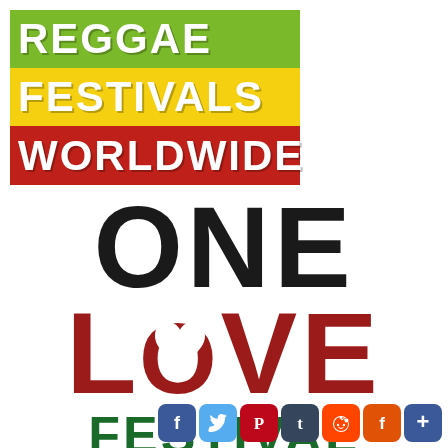[Figure (logo): Reggae Festivals Worldwide banner logo with three horizontal stripes: green (top), yellow (middle), red (bottom), each containing white bold text: REGGAE, FESTIVALS, WORLDWIDE]
ONE LOVE FESTIVAL
[Figure (infographic): Row of social media share buttons: Facebook, Twitter, Pinterest, Tumblr, Reddit, Flipboard, and a plus/share button]